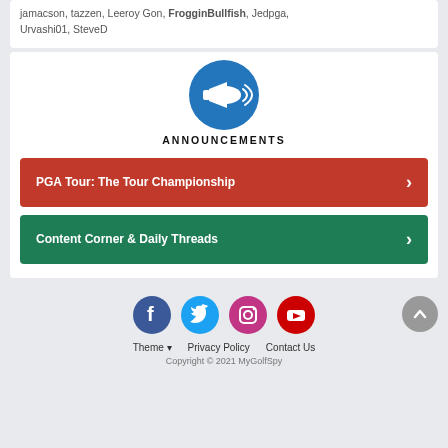jamacson, tazzen, Leeroy Gon, FrogginBullfish, Jedpga, Urvashi01, SteveD
[Figure (illustration): Blue circle with white megaphone/announcement icon]
ANNOUNCEMENTS
PGA Tour: The Tour Championship
Content Corner & Daily Threads
[Figure (illustration): Social media icons row: Facebook, Twitter, Instagram, YouTube]
Theme  Privacy Policy  Contact Us
Copyright © 2021 MyGolfSpy